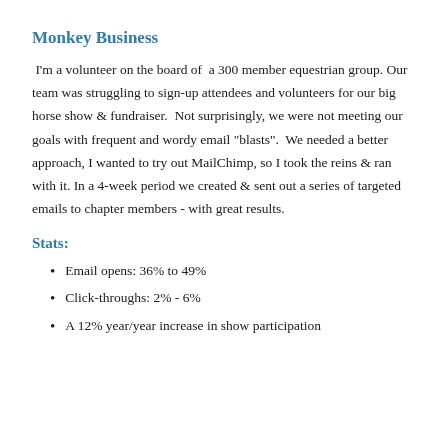Monkey Business
I'm a volunteer on the board of a 300 member equestrian group. Our team was struggling to sign-up attendees and volunteers for our big horse show & fundraiser. Not surprisingly, we were not meeting our goals with frequent and wordy email "blasts". We needed a better approach, I wanted to try out MailChimp, so I took the reins & ran with it. In a 4-week period we created & sent out a series of targeted emails to chapter members - with great results.
Stats:
Email opens: 36% to 49%
Click-throughs: 2% - 6%
A 12% year/year increase in show participation